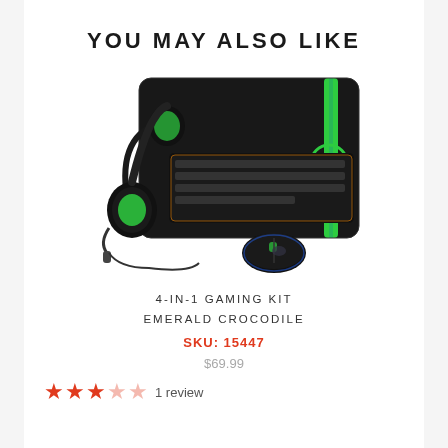YOU MAY ALSO LIKE
[Figure (photo): 4-in-1 gaming kit product photo showing a black gaming mousepad with green accents, a backlit keyboard, a gaming mouse, and a gaming headset with green ear cushions]
4-IN-1 GAMING KIT EMERALD CROCODILE
SKU: 15447
$69.99
1 review